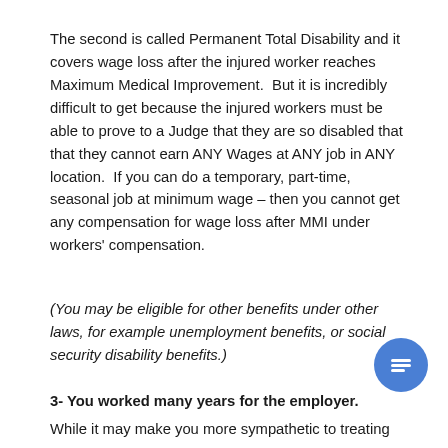The second is called Permanent Total Disability and it covers wage loss after the injured worker reaches Maximum Medical Improvement.  But it is incredibly difficult to get because the injured workers must be able to prove to a Judge that they are so disabled that that they cannot earn ANY Wages at ANY job in ANY location.  If you can do a temporary, part-time, seasonal job at minimum wage – then you cannot get any compensation for wage loss after MMI under workers' compensation.
(You may be eligible for other benefits under other laws, for example unemployment benefits, or social security disability benefits.)
3- You worked many years for the employer.
While it may make you more sympathetic to treating